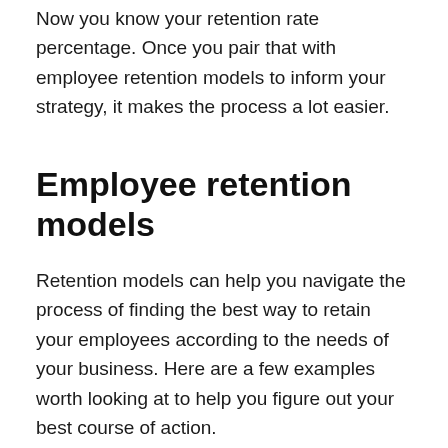Now you know your retention rate percentage. Once you pair that with employee retention models to inform your strategy, it makes the process a lot easier.
Employee retention models
Retention models can help you navigate the process of finding the best way to retain your employees according to the needs of your business. Here are a few examples worth looking at to help you figure out your best course of action.